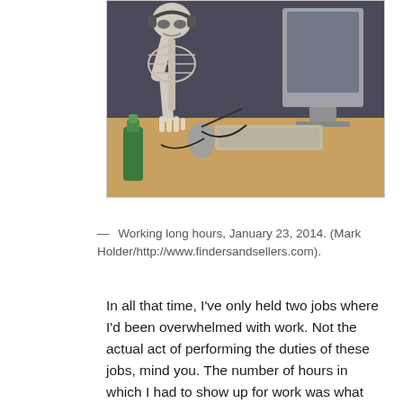[Figure (photo): Skeleton sitting at a desk with a computer, keyboard, mouse, and monitor. Green bottle visible on the desk. Taken January 23, 2014.]
— Working long hours, January 23, 2014. (Mark Holder/http://www.findersandsellers.com).
In all that time, I've only held two jobs where I'd been overwhelmed with work. Not the actual act of performing the duties of these jobs, mind you. The number of hours in which I had to show up for work was what eventually made these jobs overwhelming. My first time experiencing full-time work outside of a summer job was in the middle of my Winter/Spring '89 semester. I worked for Pitt's Computer and Information Systems' (CIS) computer labs back then. I had requested more hours, and had gone from twelve to twenty to thirty-six between the beginning of